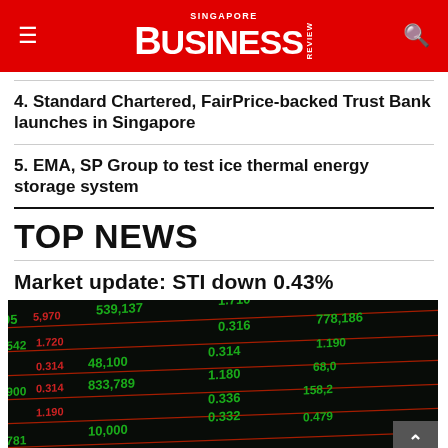Singapore Business Review
4. Standard Chartered, FairPrice-backed Trust Bank launches in Singapore
5. EMA, SP Group to test ice thermal energy storage system
TOP NEWS
Market update: STI down 0.43%
[Figure (photo): Stock market ticker board showing green numbers on a dark background, displaying various stock prices and volumes including 539,137; 1.710; 233,167; 1.720; 0.316; 0.314; 778,186; 48,100; 1.190; 0.314; 1.180; 68,000; 833,789; 1.190; 0.336; 0.332; 158,200; 0.479; 10,000; and pink/red numbers 5.970; 1.720; 0.542; 0.314; 1.900; 1.190; 0.781]